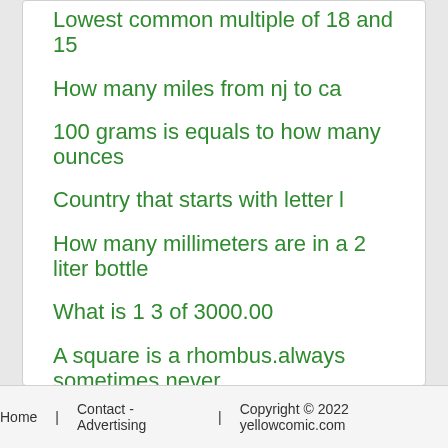Lowest common multiple of 18 and 15
How many miles from nj to ca
100 grams is equals to how many ounces
Country that starts with letter l
How many millimeters are in a 2 liter bottle
What is 1 3 of 3000.00
A square is a rhombus.always sometimes never
Distance from coeur d alene to spokane
5.0 mustang belt size without smog and ac
Home   Contact - Advertising   Copyright © 2022 yellowcomic.com